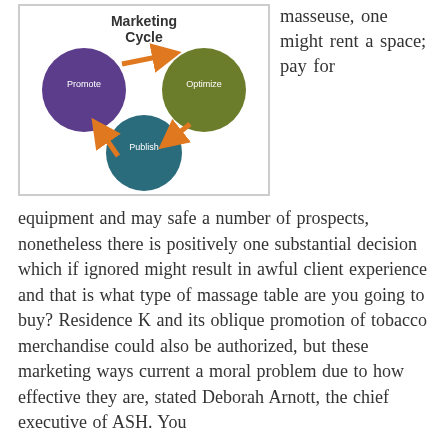[Figure (infographic): A circular marketing cycle diagram showing three circles labeled Promote (purple, left), Optimize (green, right), and Publish (teal, bottom center), connected by orange arrows in a cycle. Title reads 'Marketing Cycle'.]
masseuse, one might rent a space; pay for equipment and may safe a number of prospects, nonetheless there is positively one substantial decision which if ignored might result in awful client experience and that is what type of massage table are you going to buy? Residence K and its oblique promotion of tobacco merchandise could also be authorized, but these marketing ways current a moral problem due to how effective they are, stated Deborah Arnott, the chief executive of ASH. You